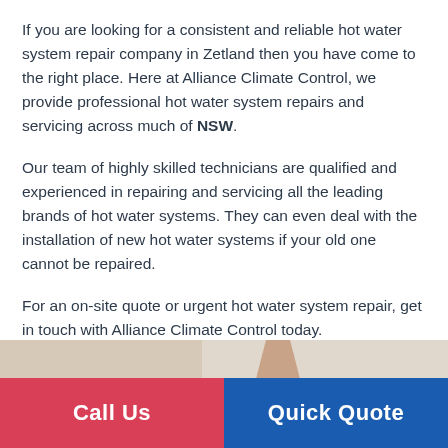If you are looking for a consistent and reliable hot water system repair company in Zetland then you have come to the right place. Here at Alliance Climate Control, we provide professional hot water system repairs and servicing across much of NSW.
Our team of highly skilled technicians are qualified and experienced in repairing and servicing all the leading brands of hot water systems. They can even deal with the installation of new hot water systems if your old one cannot be repaired.
For an on-site quote or urgent hot water system repair, get in touch with Alliance Climate Control today.
[Figure (photo): Partial photo showing a person's tattooed arm, likely a plumber or technician, against a light beige/cream background.]
Call Us
Quick Quote